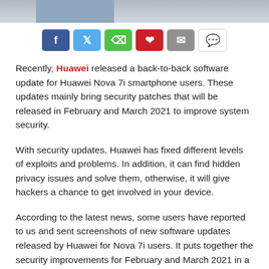[Figure (photo): Top portion of an image, partially visible at the top of the page]
[Figure (infographic): Social sharing buttons: Facebook, Twitter, WhatsApp, Pinterest, Email, Comment]
Recently, Huawei released a back-to-back software update for Huawei Nova 7i smartphone users. These updates mainly bring security patches that will be released in February and March 2021 to improve system security.
With security updates, Huawei has fixed different levels of exploits and problems. In addition, it can find hidden privacy issues and solve them, otherwise, it will give hackers a chance to get involved in your device.
According to the latest news, some users have reported to us and sent screenshots of new software updates released by Huawei for Nova 7i users. It puts together the security improvements for February and March 2021 in a single update.